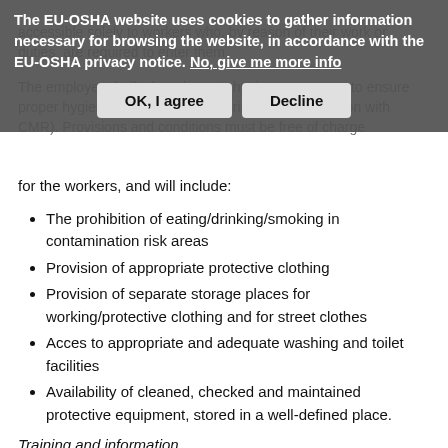accessible solely to workers who, by reason of their work or duties, are required to enter them.
The employer shall take adequate hygiene measures to ensure proper hygiene (for preventing the risk of contamination with CMR). Provisions and conditions must be free of charge for the workers, and will include:
The EU-OSHA website uses cookies to gather information necessary for browsing the website, in accordance with the EU-OSHA privacy notice. No, give me more info
The prohibition of eating/drinking/smoking in contamination risk areas
Provision of appropriate protective clothing
Provision of separate storage places for working/protective clothing and for street clothes
Acces to appropriate and adequate washing and toilet facilities
Availability of cleaned, checked and maintained protective equipment, stored in a well-defined place.
Training and information
The employer shall also provide appropriate training on potential risks to health, precautions to prevent